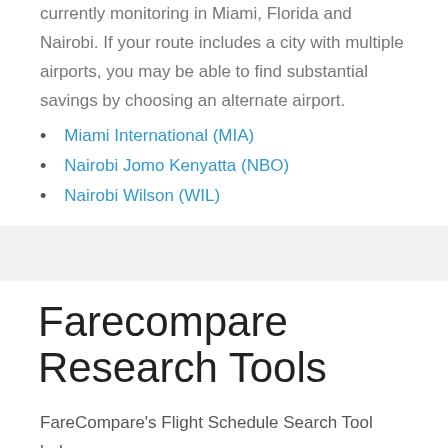currently monitoring in Miami, Florida and Nairobi. If your route includes a city with multiple airports, you may be able to find substantial savings by choosing an alternate airport.
Miami International (MIA)
Nairobi Jomo Kenyatta (NBO)
Nairobi Wilson (WIL)
Farecompare Research Tools
FareCompare's Flight Schedule Search Tool helps you